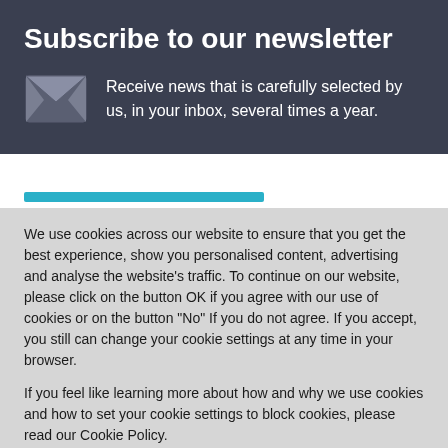Subscribe to our newsletter
Receive news that is carefully selected by us, in your inbox, several times a year.
We use cookies across our website to ensure that you get the best experience, show you personalised content, advertising and analyse the website’s traffic. To continue on our website, please click on the button OK if you agree with our use of cookies or on the button "No" If you do not agree. If you accept, you still can change your cookie settings at any time in your browser.
If you feel like learning more about how and why we use cookies and how to set your cookie settings to block cookies, please read our Cookie Policy.